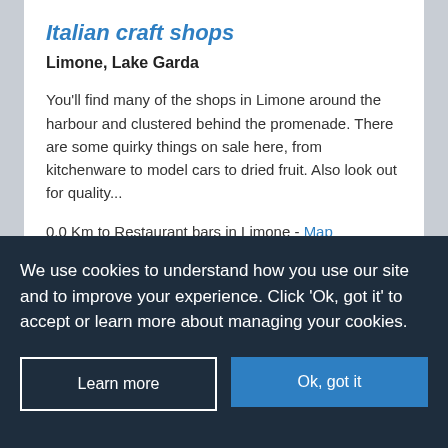Italian craft shops
Limone, Lake Garda
You'll find many of the shops in Limone around the harbour and clustered behind the promenade. There are some quirky things on sale here, from kitchenware to model cars to dried fruit. Also look out for quality...
0.0 Km to Restaurant bars in Limone - Map
View on map
Read more ›
We use cookies to understand how you use our site and to improve your experience. Click 'Ok, got it' to accept or learn more about managing your cookies.
Learn more
Ok, got it